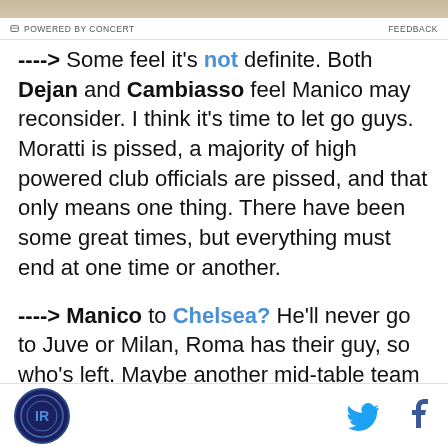[Figure (photo): Top image strip showing partial photo]
POWERED BY CONCERT   FEEDBACK
----> Some feel it's not definite. Both Dejan and Cambiasso feel Manico may reconsider. I think it's time to let go guys. Moratti is pissed, a majority of high powered club officials are pissed, and that only means one thing. There have been some great times, but everything must end at one time or another.
----> Manico to Chelsea? He'll never go to Juve or Milan, Roma has their guy, so who's left. Maybe another mid-table team in Italy? I'm not so sure. Truthfully, I can see this man going to England. I wish him the best after he leaves Inter, but it will be sweet if we got Jose, Chelsea gets Manico, and we play in the
Inter Milan logo | Twitter icon | Facebook icon